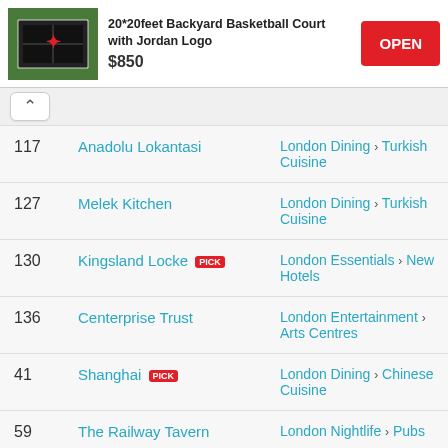[Figure (screenshot): Ad for 20x20feet Backyard Basketball Court with Jordan Logo showing $850 price and OPEN button]
117 Anadolu Lokantasi — London Dining > Turkish Cuisine
127 Melek Kitchen — London Dining > Turkish Cuisine
130 Kingsland Locke PICK — London Essentials > New Hotels
136 Centerprise Trust — London Entertainment > Arts Centres
41 Shanghai PICK — London Dining > Chinese Cuisine
59 The Railway Tavern — London Nightlife > Pubs
89 Jidori PICK — London Dining > Japanese Cuisine